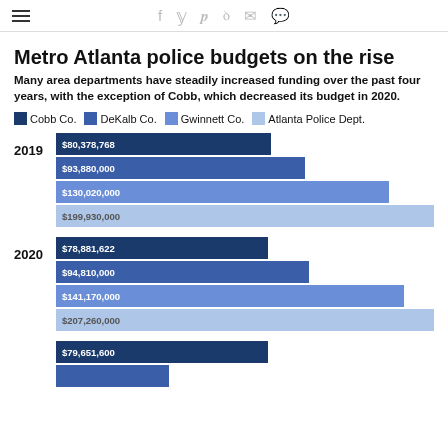≡  f  y  p  d  ✉  ◻
Metro Atlanta police budgets on the rise
Many area departments have steadily increased funding over the past four years, with the exception of Cobb, which decreased its budget in 2020.
[Figure (grouped-bar-chart): Metro Atlanta police budgets on the rise]